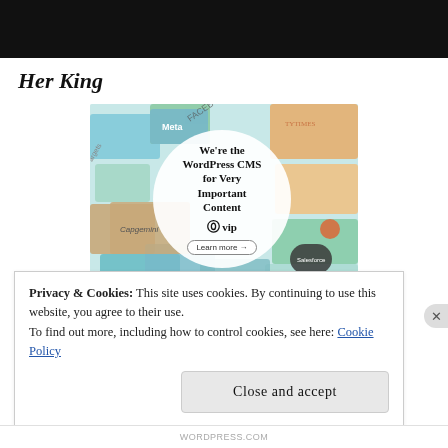[Figure (screenshot): Black header bar at the top of a webpage]
Her King
[Figure (illustration): WordPress VIP advertisement showing a collage of colorful cards/logos in the background with a white circle in the center containing the text 'We're the WordPress CMS for Very Important Content' with a WordPress VIP logo and 'Learn more →' button]
Privacy & Cookies: This site uses cookies. By continuing to use this website, you agree to their use.
To find out more, including how to control cookies, see here: Cookie Policy
Close and accept